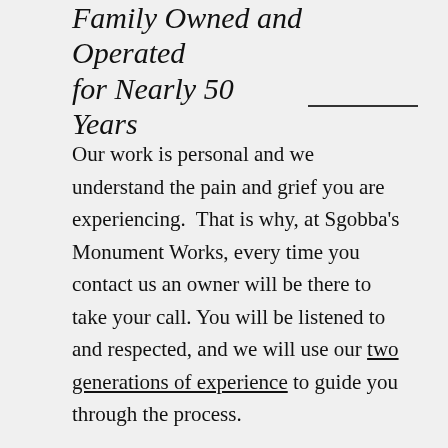Family Owned and Operated for Nearly 50 Years
Our work is personal and we understand the pain and grief you are experiencing.  That is why, at Sgobba's Monument Works, every time you contact us an owner will be there to take your call. You will be listened to and respected, and we will use our two generations of experience to guide you through the process.